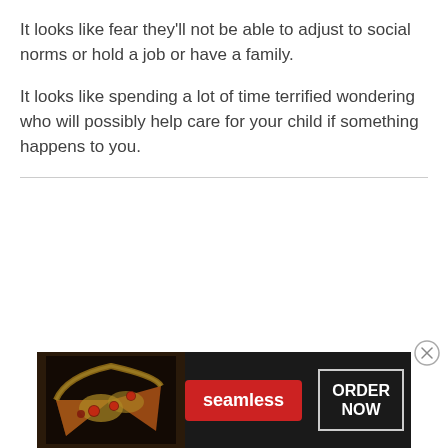It looks like fear they'll not be able to adjust to social norms or hold a job or have a family.
It looks like spending a lot of time terrified wondering who will possibly help care for your child if something happens to you.
[Figure (other): Seamless food delivery advertisement banner with pizza image, Seamless logo in red, and ORDER NOW button]